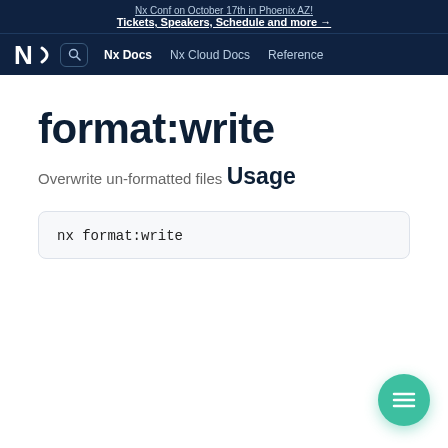Nx Conf on October 17th in Phoenix AZ!
Tickets, Speakers, Schedule and more →
Nx Docs  Nx Cloud Docs  Reference
format:write
Overwrite un-formatted files
Usage
nx format:write